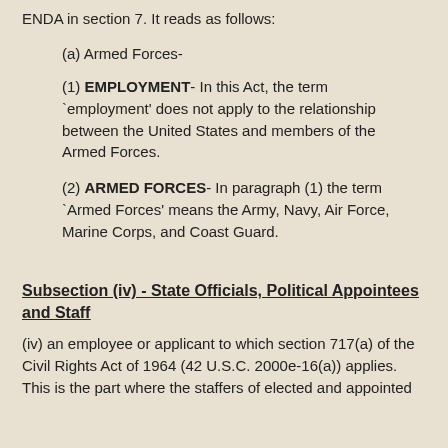ENDA in section 7. It reads as follows:
(a) Armed Forces-
(1) EMPLOYMENT- In this Act, the term `employment' does not apply to the relationship between the United States and members of the Armed Forces.
(2) ARMED FORCES- In paragraph (1) the term `Armed Forces' means the Army, Navy, Air Force, Marine Corps, and Coast Guard.
Subsection (iv) - State Officials, Political Appointees and Staff
(iv) an employee or applicant to which section 717(a) of the Civil Rights Act of 1964 (42 U.S.C. 2000e-16(a)) applies. This is the part where the staffers of elected and appointed